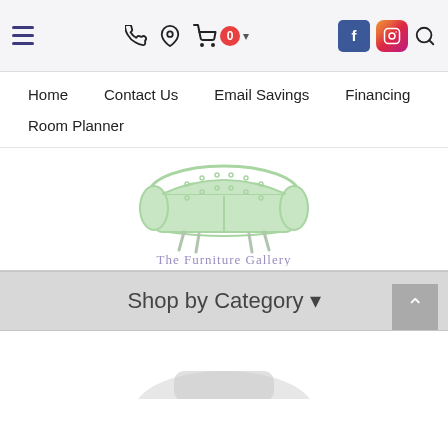Navigation bar with hamburger menu, phone, location, cart (0), Facebook, Instagram, and search icons
Home
Contact Us
Email Savings
Financing
Room Planner
[Figure (logo): The Furniture Gallery logo: a light green sofa with legs above the text 'The Furniture Gallery' in purple/lavender]
Shop by Category -
[Figure (illustration): Partial furniture image at bottom of page]